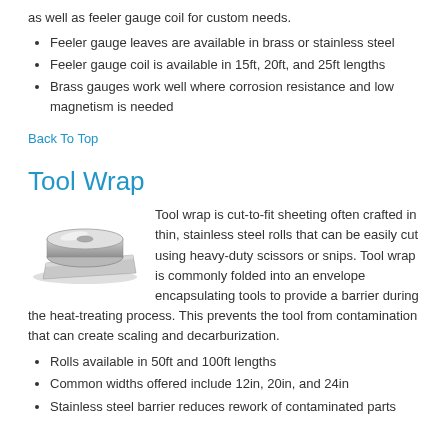as well as feeler gauge coil for custom needs.
Feeler gauge leaves are available in brass or stainless steel
Feeler gauge coil is available in 15ft, 20ft, and 25ft lengths
Brass gauges work well where corrosion resistance and low magnetism is needed
Back To Top
Tool Wrap
[Figure (photo): A roll of thin stainless steel tool wrap sheeting]
Tool wrap is cut-to-fit sheeting often crafted in thin, stainless steel rolls that can be easily cut using heavy-duty scissors or snips. Tool wrap is commonly folded into an envelope encapsulating tools to provide a barrier during the heat-treating process. This prevents the tool from contamination that can create scaling and decarburization.
Rolls available in 50ft and 100ft lengths
Common widths offered include 12in, 20in, and 24in
Stainless steel barrier reduces rework of contaminated parts
Shim Assortment